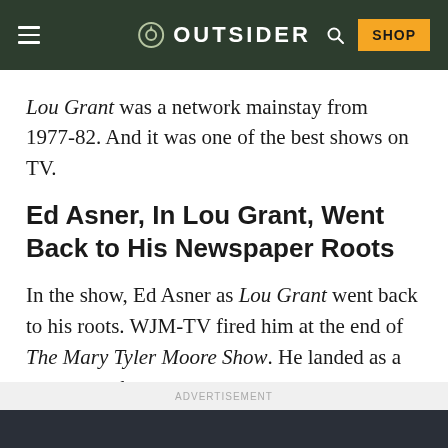OUTSIDER
Lou Grant was a network mainstay from 1977-82. And it was one of the best shows on TV.
Ed Asner, In Lou Grant, Went Back to His Newspaper Roots
In the show, Ed Asner as Lou Grant went back to his roots. WJM-TV fired him at the end of The Mary Tyler Moore Show. He landed as a city editor for a major Los Angeles daily.